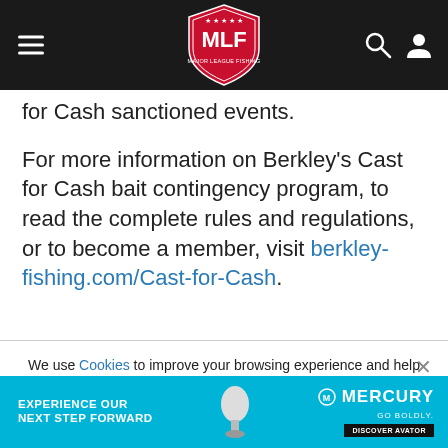MLF - Major League Fishing
for Cash sanctioned events.
For more information on Berkley's Cast for Cash bait contingency program, to read the complete rules and regulations, or to become a member, visit berkley-fishing.com/Cast-for-Cash.
We use Cookies to improve your browsing experience and help us improve our website. Our Privacy Policy and Terms of Service have changed. Click OK to agree.
[Figure (logo): Mercury Marine advertisement banner - EXPERIENCE OUR NEXT STEP FORWARD with Mercury logo and Discover Avatar button]
EXPERIENCE OUR NEXT STEP FORWARD